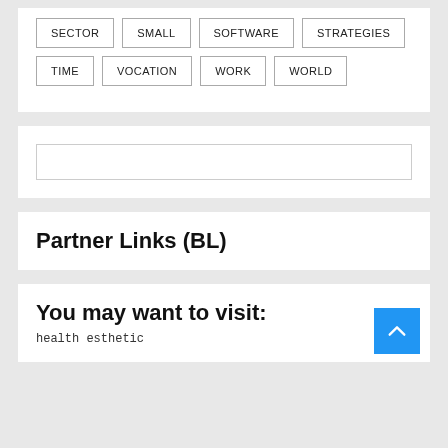SECTOR
SMALL
SOFTWARE
STRATEGIES
TIME
VOCATION
WORK
WORLD
Partner Links (BL)
You may want to visit:
health esthetic